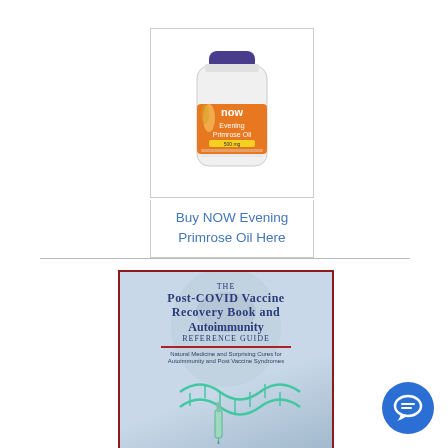[Figure (photo): NOW Evening Primrose Oil supplement bottle with orange and white label, purple cap]
Buy NOW Evening Primrose Oil Here
[Figure (photo): Book cover: The Post-COVID Vaccine Recovery Book and Autoimmunity Reference Guide. Natural Medicine and Surprising Cures for Autoimmunity and Post Vaccine Syndromes. Features DNA helix and syringe illustration on a light blue background with dark red border.]
[Figure (other): Blue circular chat/support button icon in bottom right corner]